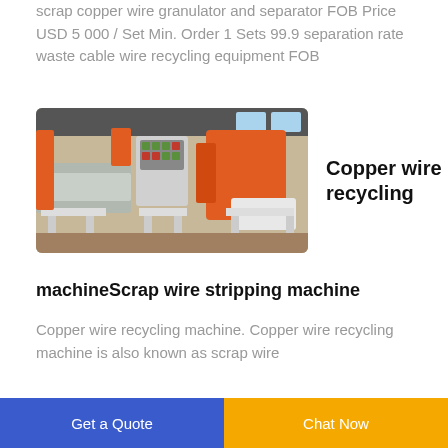scrap copper wire granulator and separator FOB Price USD 5 000 / Set Min. Order 1 Sets 99.9 separation rate waste cable wire recycling equipment FOB
[Figure (photo): Industrial copper wire recycling machine with orange and white components in a factory setting]
Copper wire recycling
machineScrap wire stripping machine
Copper wire recycling machine. Copper wire recycling machine is also known as scrap wire
Get a Quote | Chat Now